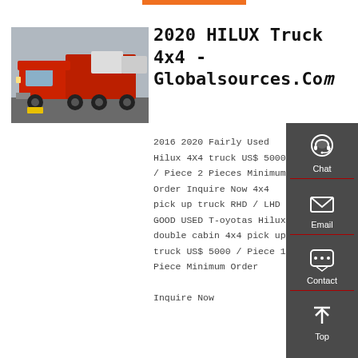[Figure (photo): Red dump truck (HOWO 6x4) parked outdoors, side view with dump bed raised slightly, white trucks visible in background]
2020 HILUX Truck 4x4 - Globalsources.Com
2016 2020 Fairly Used Hilux 4X4 truck US$ 5000 / Piece 2 Pieces Minimum Order Inquire Now 4x4 pick up truck RHD / LHD GOOD USED T-oyotas Hilux double cabin 4x4 pick up truck US$ 5000 / Piece 1 Piece Minimum Order Inquire Now